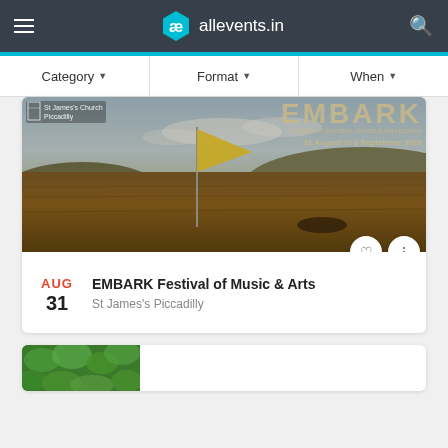ae allevents.in
Category ▼   Format ▼   When ▼
[Figure (photo): EMBARK Festival banner showing a golden flag on a moorland with text: St James's Church Piccadilly, EMBARK Festival of journeys, stories & impressions, 31 August to 3 September 2022]
EMBARK Festival of Music & Arts
St James's Piccadilly
AUG 31
[Figure (photo): Partial view of a second event card showing green foliage]